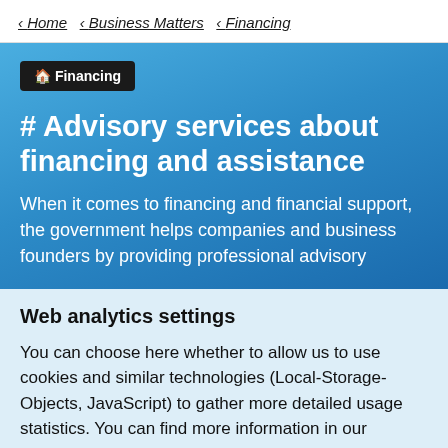< Home  < Business Matters  < Financing
🏢 Financing
# Advisory services about financing and assistance
When it comes to financing and financial support, the government helps companies and business founders by providing professional advisory
Web analytics settings
You can choose here whether to allow us to use cookies and similar technologies (Local-Storage-Objects, JavaScript) to gather more detailed usage statistics. You can find more information in our